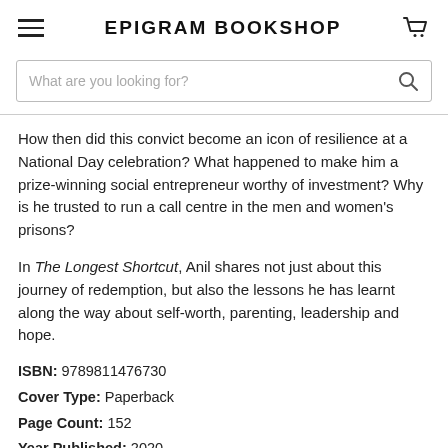EPIGRAM BOOKSHOP
What are you looking for?
How then did this convict become an icon of resilience at a National Day celebration? What happened to make him a prize-winning social entrepreneur worthy of investment? Why is he trusted to run a call centre in the men and women's prisons?
In The Longest Shortcut, Anil shares not just about this journey of redemption, but also the lessons he has learnt along the way about self-worth, parenting, leadership and hope.
ISBN: 9789811476730
Cover Type: Paperback
Page Count: 152
Year Published: 2020